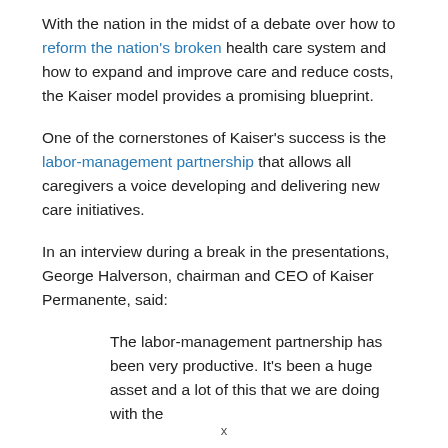With the nation in the midst of a debate over how to reform the nation's broken health care system and how to expand and improve care and reduce costs, the Kaiser model provides a promising blueprint.
One of the cornerstones of Kaiser's success is the labor-management partnership that allows all caregivers a voice developing and delivering new care initiatives.
In an interview during a break in the presentations, George Halverson, chairman and CEO of Kaiser Permanente, said:
The labor-management partnership has been very productive. It's been a huge asset and a lot of this that we are doing with the
x